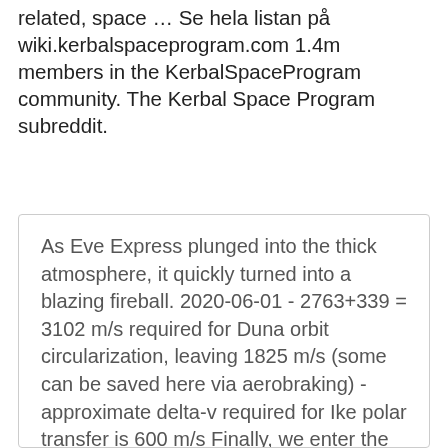related, space … Se hela listan på wiki.kerbalspaceprogram.com 1.4m members in the KerbalSpaceProgram community. The Kerbal Space Program subreddit.
As Eve Express plunged into the thick atmosphere, it quickly turned into a blazing fireball. 2020-06-01 - 2763+339 = 3102 m/s required for Duna orbit circularization, leaving 1825 m/s (some can be saved here via aerobraking) - approximate delta-v required for Ike polar transfer is 600 m/s Finally, we enter the sphere of influence of the red planet after a long voyage, some preparations are made to stabilize the ship against the stresses of aer Inline ballutes for upper atmosphere aerobraking. Contribute to